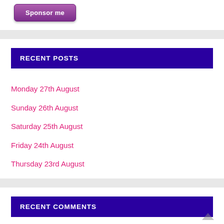[Figure (other): Purple 'Sponsor me' button]
RECENT POSTS
Monday 27th August
Sunday 26th August
Saturday 25th August
Friday 24th August
Thursday 23rd August
RECENT COMMENTS